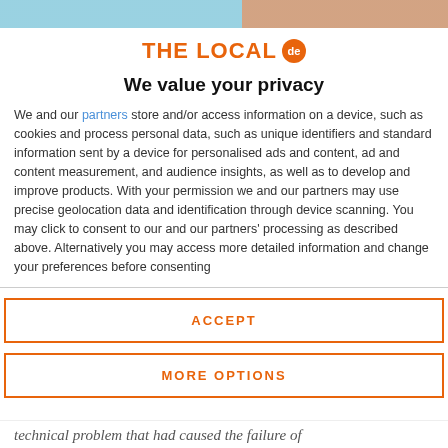[Figure (other): Top banner image partially visible, split into two color sections]
We value your privacy
We and our partners store and/or access information on a device, such as cookies and process personal data, such as unique identifiers and standard information sent by a device for personalised ads and content, ad and content measurement, and audience insights, as well as to develop and improve products. With your permission we and our partners may use precise geolocation data and identification through device scanning. You may click to consent to our and our partners' processing as described above. Alternatively you may access more detailed information and change your preferences before consenting
ACCEPT
MORE OPTIONS
technical problem that had caused the failure of